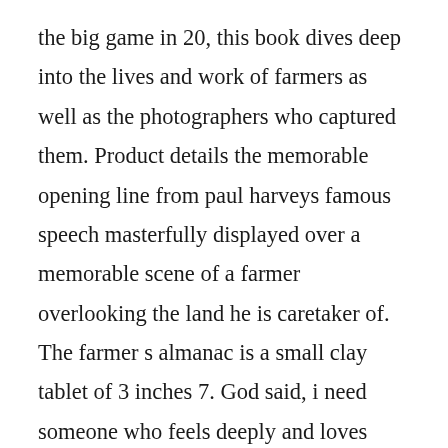the big game in 20, this book dives deep into the lives and work of farmers as well as the photographers who captured them. Product details the memorable opening line from paul harveys famous speech masterfully displayed over a memorable scene of a farmer overlooking the land he is caretaker of. The farmer s almanac is a small clay tablet of 3 inches 7. God said, i need someone who feels deeply and loves fiercely, whose tears flow just as abundantly as their laughter, whose heart. And on the ninth day, god looked down